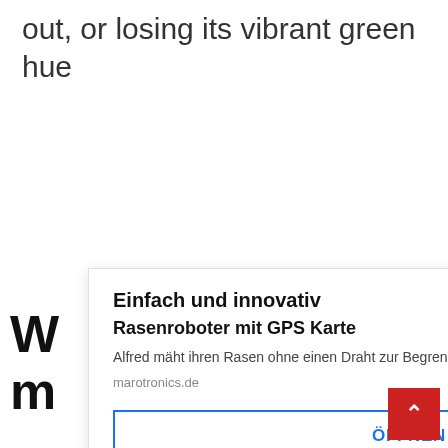out, or losing its vibrant green hue
[Figure (screenshot): Popup advertisement for Marotronics lawn robot with GPS. Contains title 'Einfach und innovativ', subtitle 'Rasenroboter mit GPS Karte', description text, URL marotronics.de, and an ÖFFNEN button. A black close button (X) is in the top right corner.]
W
m